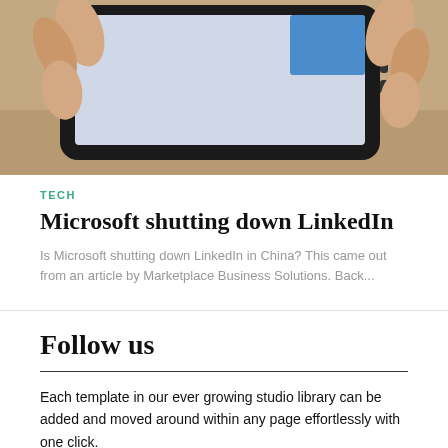[Figure (photo): Hands holding a black smartphone/mobile device, close-up photo]
TECH
Microsoft shutting down LinkedIn
Is Microsoft shutting down LinkedIn in China? This came out from an article by Marketplace Business Solutions. Back...
Follow us
Each template in our ever growing studio library can be added and moved around within any page effortlessly with one click.
[Figure (other): Four social media icon buttons: Facebook, Instagram, Twitter, YouTube — black square buttons with white icons]